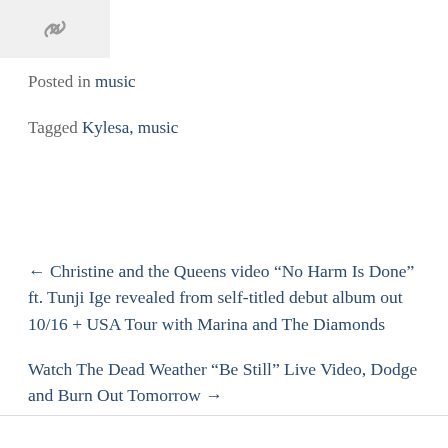[Figure (illustration): Chain link / permalink icon on a light gray background]
Posted in music
Tagged Kylesa, music
← Christine and the Queens video “No Harm Is Done” ft. Tunji Ige revealed from self-titled debut album out 10/16 + USA Tour with Marina and The Diamonds
Watch The Dead Weather “Be Still” Live Video, Dodge and Burn Out Tomorrow →